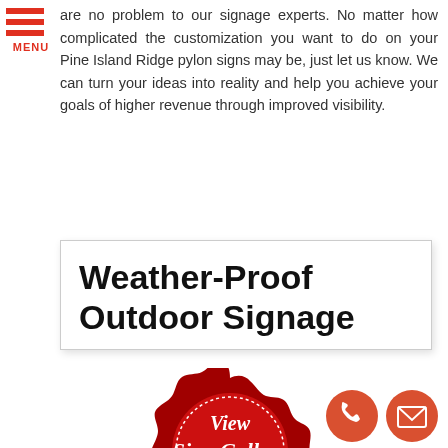[Figure (other): Hamburger menu icon with two red horizontal bars and 'MENU' text in red below]
are no problem to our signage experts. No matter how complicated the customization you want to do on your Pine Island Ridge pylon signs may be, just let us know. We can turn your ideas into reality and help you achieve your goals of higher revenue through improved visibility.
Weather-Proof Outdoor Signage
[Figure (illustration): Red seal badge with gold ribbon banner reading 'CLICK HERE', containing script text 'View Sign Gallery']
[Figure (other): Two circular orange/red icon buttons: a phone handset icon and an envelope/mail icon]